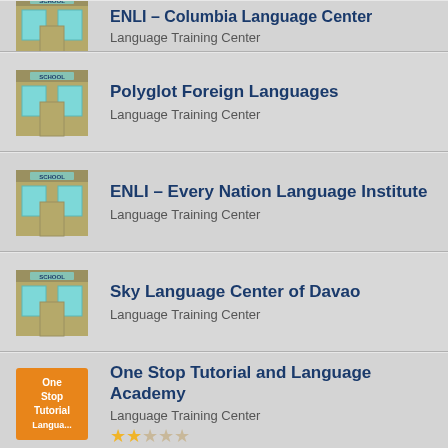ENLI – Columbia Language Center
Language Training Center
Polyglot Foreign Languages
Language Training Center
ENLI – Every Nation Language Institute
Language Training Center
Sky Language Center of Davao
Language Training Center
One Stop Tutorial and Language Academy
Language Training Center
★★☆☆☆